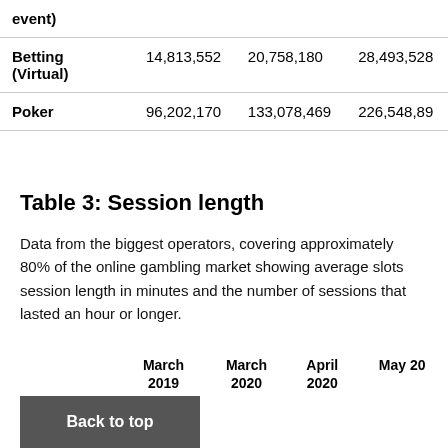|  | March 2019 | March 2020 | April 2020 | May 20... |
| --- | --- | --- | --- | --- |
| event) |  |  |  |  |
| Betting (Virtual) | 14,813,552 | 20,758,180 | 28,493,528 |  |
| Poker | 96,202,170 | 133,078,469 | 226,548,89... |  |
Table 3: Session length
Data from the biggest operators, covering approximately 80% of the online gambling market showing average slots session length in minutes and the number of sessions that lasted an hour or longer.
|  | March 2019 | March 2020 | April 2020 | May 20... |
| --- | --- | --- | --- | --- |
Back to top